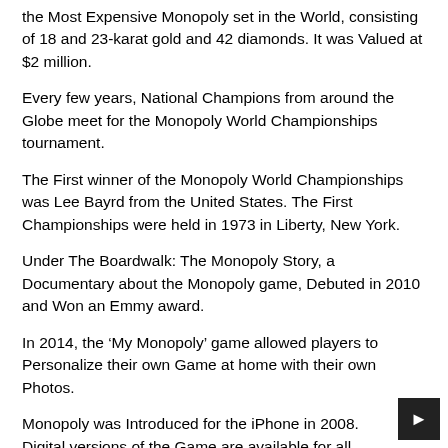the Most Expensive Monopoly set in the World, consisting of 18 and 23-karat gold and 42 diamonds. It was Valued at $2 million.
Every few years, National Champions from around the Globe meet for the Monopoly World Championships tournament.
The First winner of the Monopoly World Championships was Lee Bayrd from the United States. The First Championships were held in 1973 in Liberty, New York.
Under The Boardwalk: The Monopoly Story, a Documentary about the Monopoly game, Debuted in 2010 and Won an Emmy award.
In 2014, the ‘My Monopoly’ game allowed players to Personalize their own Game at home with their own Photos.
Monopoly was Introduced for the iPhone in 2008. Digital versions of the Game are available for all Major platforms and online through Collaborations with Licensees such as Ubisoft and EA.